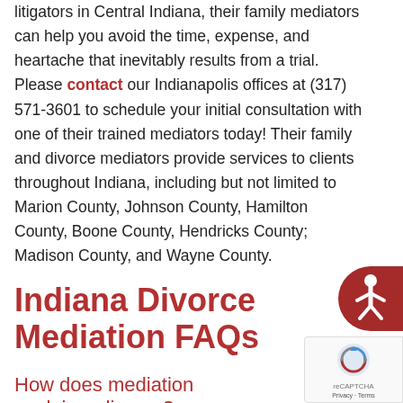litigators in Central Indiana, their family mediators can help you avoid the time, expense, and heartache that inevitably results from a trial. Please contact our Indianapolis offices at (317) 571-3601 to schedule your initial consultation with one of their trained mediators today! Their family and divorce mediators provide services to clients throughout Indiana, including but not limited to Marion County, Johnson County, Hamilton County, Boone County, Hendricks County; Madison County, and Wayne County.
Indiana Divorce Mediation FAQs
How does mediation work in a divorce?